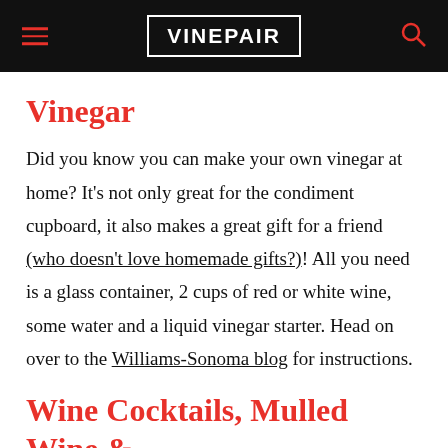VINEPAIR
Vinegar
Did you know you can make your own vinegar at home? It's not only great for the condiment cupboard, it also makes a great gift for a friend (who doesn't love homemade gifts?)! All you need is a glass container, 2 cups of red or white wine, some water and a liquid vinegar starter. Head on over to the Williams-Sonoma blog for instructions.
Wine Cocktails, Mulled Wine &